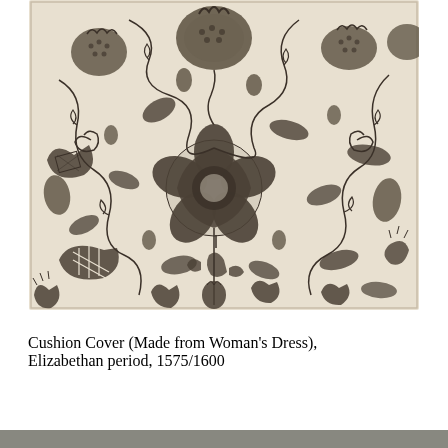[Figure (photo): A black and white photograph of an Elizabethan embroidered cushion cover featuring intricate floral and botanical patterns including pomegranates, flowers, leaves, and scrolling vines on a light background.]
Cushion Cover (Made from Woman’s Dress), Elizabethan period, 1575/1600